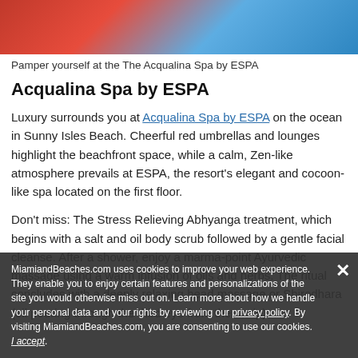[Figure (photo): Beachfront area with red umbrellas and lounge chairs near a pool, blue water visible in background]
Pamper yourself at the The Acqualina Spa by ESPA
Acqualina Spa by ESPA
Luxury surrounds you at Acqualina Spa by ESPA on the ocean in Sunny Isles Beach. Cheerful red umbrellas and lounges highlight the beachfront space, while a calm, Zen-like atmosphere prevails at ESPA, the resort's elegant and cocoon-like spa located on the first floor.
Don't miss: The Stress Relieving Abhyanga treatment, which begins with a salt and oil body scrub followed by a gentle facial cleanse. After a shower, enjoy a marma-point Ayurvedic massage using a warm infusion of oils and herbs. The ritual concludes with a deeply relaxing head massage or Shirodhara (oil pouring through the third eye from the scalp).
MiamiandBeaches.com uses cookies to improve your web experience. They enable you to enjoy certain features and personalizations of the site you would otherwise miss out on. Learn more about how we handle your personal data and your rights by reviewing our privacy policy. By visiting MiamiandBeaches.com, you are consenting to use our cookies. I accept.